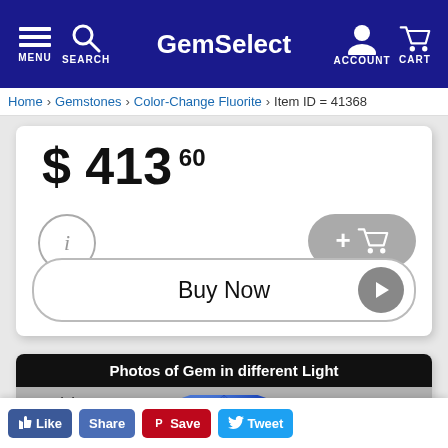GemSelect — MENU SEARCH ACCOUNT CART
Home > Gemstones > Color-Change Fluorite — Item ID = 41368...
$ 413.60
[Figure (screenshot): Info button (i), Add to Cart button (+cart icon), Buy Now button with play arrow]
[Figure (photo): Photos of Gem in different Light — Day Light — blue faceted gemstone (Color-Change Fluorite) on grey background]
Like  Share  Save  Tweet